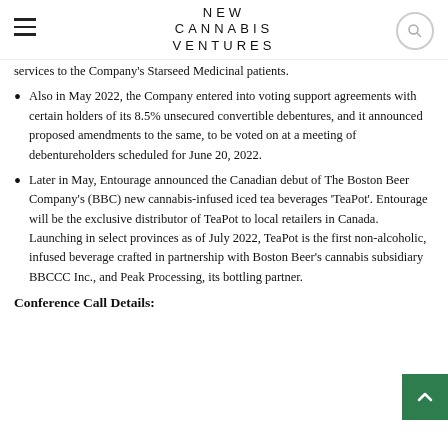NEW CANNABIS VENTURES
services to the Company's Starseed Medicinal patients.
Also in May 2022, the Company entered into voting support agreements with certain holders of its 8.5% unsecured convertible debentures, and it announced proposed amendments to the same, to be voted on at a meeting of debentureholders scheduled for June 20, 2022.
Later in May, Entourage announced the Canadian debut of The Boston Beer Company's (BBC) new cannabis-infused iced tea beverages 'TeaPot'. Entourage will be the exclusive distributor of TeaPot to local retailers in Canada. Launching in select provinces as of July 2022, TeaPot is the first non-alcoholic, infused beverage crafted in partnership with Boston Beer's cannabis subsidiary BBCCC Inc., and Peak Processing, its bottling partner.
Conference Call Details: